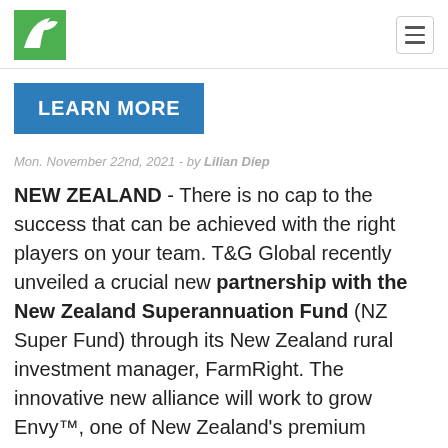[Logo] [Hamburger menu]
LEARN MORE
Mon. November 22nd, 2021 - by Lilian Diep
NEW ZEALAND - There is no cap to the success that can be achieved with the right players on your team. T&G Global recently unveiled a crucial new partnership with the New Zealand Superannuation Fund (NZ Super Fund) through its New Zealand rural investment manager, FarmRight. The innovative new alliance will work to grow Envy™, one of New Zealand's premium